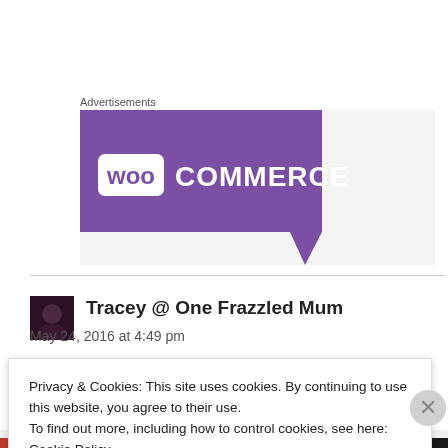Advertisements
[Figure (logo): WooCommerce advertisement banner with purple diagonal background and white WooCommerce logo text]
Tracey @ One Frazzled Mum
May 24, 2016 at 4:49 pm
Privacy & Cookies: This site uses cookies. By continuing to use this website, you agree to their use.
To find out more, including how to control cookies, see here:
Cookie Policy
Close and accept